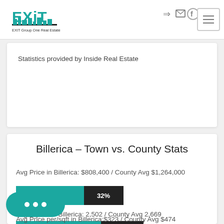[Figure (logo): EXIT Group One Real Estate logo with teal EXIT text and building silhouette]
Statistics provided by Inside Real Estate
Billerica – Town vs. County Stats
Avg Price in Billerica: $808,400 / County Avg $1,264,000
[Figure (bar-chart): Avg Price comparison]
Avg Sq. Ft. in Billerica: 2,502 / County Avg 2,669
[Figure (bar-chart): Avg Sq Ft comparison]
Avg Price per/sqft in Billerica:$323 / County Avg $474